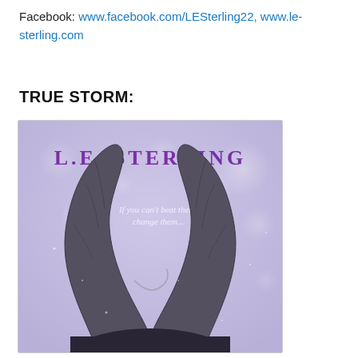Facebook: www.facebook.com/LESterling22, www.le-sterling.com
TRUE STORM:
[Figure (illustration): Book cover for 'True Storm' by L.E. Sterling. Purple/lavender bokeh background with large dark twisted horns in the foreground. Text reads 'L.E. STERLING' at the top in purple, and 'If you can't beat them, change them...' in white italic text in the middle.]